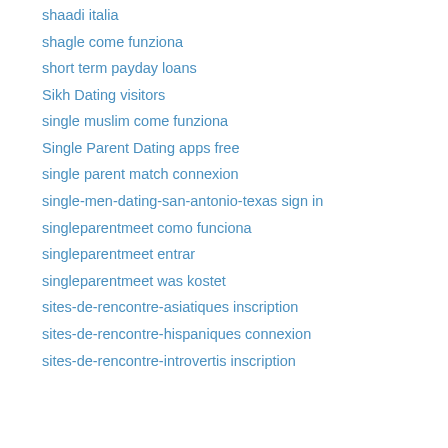shaadi italia
shagle come funziona
short term payday loans
Sikh Dating visitors
single muslim come funziona
Single Parent Dating apps free
single parent match connexion
single-men-dating-san-antonio-texas sign in
singleparentmeet como funciona
singleparentmeet entrar
singleparentmeet was kostet
sites-de-rencontre-asiatiques inscription
sites-de-rencontre-hispaniques connexion
sites-de-rencontre-introvertis inscription